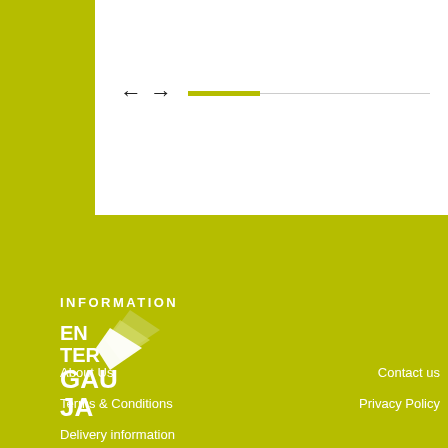[Figure (screenshot): Navigation UI element with left and right arrows followed by a progress bar with olive/yellow filled portion and grey empty portion, on white background with speech bubble cutout shape]
[Figure (logo): Enter Gauja logo with white text and green chevron arrow on olive/yellow-green background]
INFORMATION
About Us
Contact us
Terms & Conditions
Privacy Policy
Delivery information